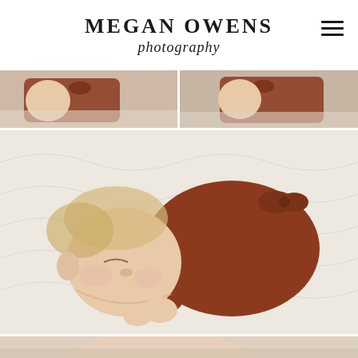MEGAN OWENS photography
[Figure (photo): Two side-by-side cropped photos of a sleeping newborn baby dressed in a rust/terracotta orange onesie with bow, lying on a white quilted blanket]
[Figure (photo): Large centered photo of a sleeping newborn baby with light hair, dressed in a rust/terracotta orange footed sleeper with bow detail, lying peacefully on a white quilted bedspread]
[Figure (photo): Partial bottom photo showing a newborn baby, cropped at bottom of page]